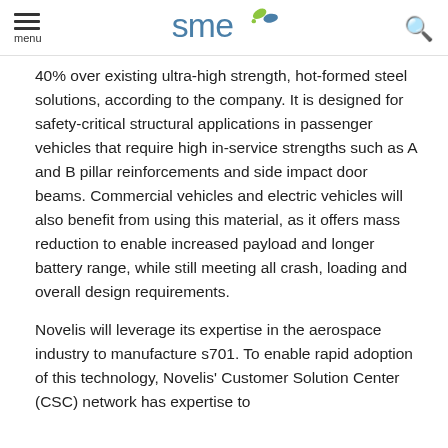menu [SME logo] [search icon]
40% over existing ultra-high strength, hot-formed steel solutions, according to the company. It is designed for safety-critical structural applications in passenger vehicles that require high in-service strengths such as A and B pillar reinforcements and side impact door beams. Commercial vehicles and electric vehicles will also benefit from using this material, as it offers mass reduction to enable increased payload and longer battery range, while still meeting all crash, loading and overall design requirements.
Novelis will leverage its expertise in the aerospace industry to manufacture s701. To enable rapid adoption of this technology, Novelis' Customer Solution Center (CSC) network has expertise to